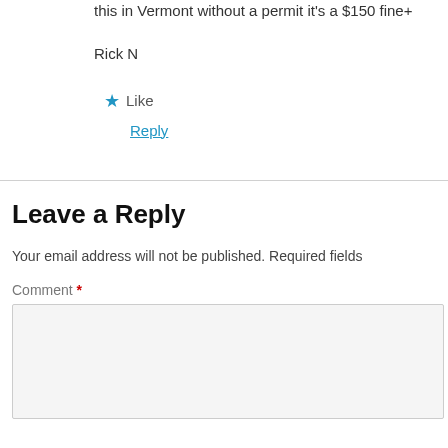this in Vermont without a permit it's a $150 fine+
Rick N
★ Like
Reply
Leave a Reply
Your email address will not be published. Required fields
Comment *